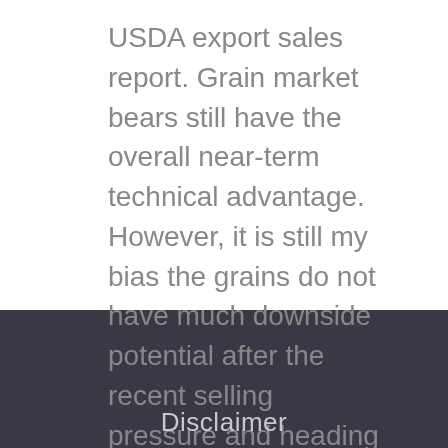USDA export sales report. Grain market bears still have the overall near-term technical advantage. However, it is still my bias the grains do not have much downside potential after the recent selling pressure and heading into the more price-volatile U.S. planting and growing season.
Disclaimer